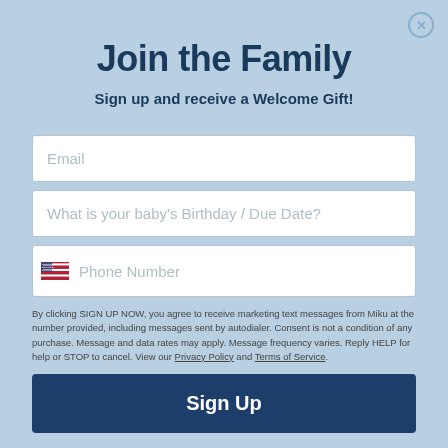Join the Family
Sign up and receive a Welcome Gift!
Email
What is your baby's Birthday / Due Date?
Phone Number
By clicking SIGN UP NOW, you agree to receive marketing text messages from Miku at the number provided, including messages sent by autodialer. Consent is not a condition of any purchase. Message and data rates may apply. Message frequency varies. Reply HELP for help or STOP to cancel. View our Privacy Policy and Terms of Service.
Sign Up